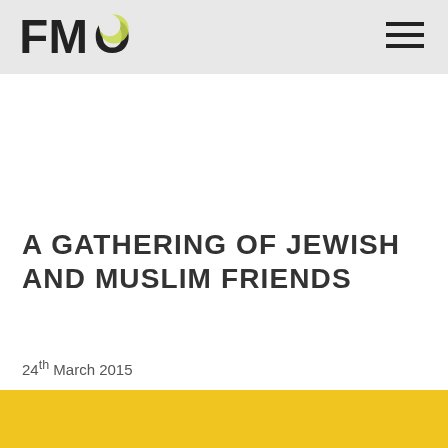FMO
A GATHERING OF JEWISH AND MUSLIM FRIENDS
24th March 2015